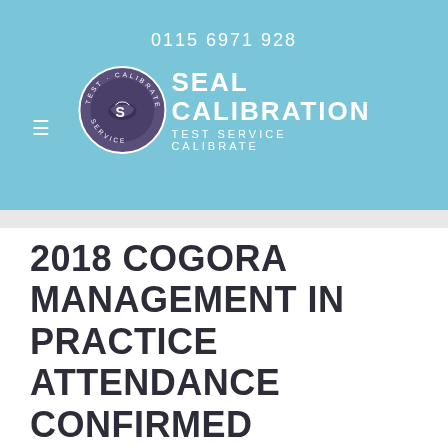0115 6971 928
[Figure (logo): Seal Calibration logo with circular badge and text 'SEAL CALIBRATION TEST SERVICE CALIBRATE']
2018 COGORA MANAGEMENT IN PRACTICE ATTENDANCE CONFIRMED
At Seal Calibration Ltd we pride ourselves on supporting practice managers with all medical